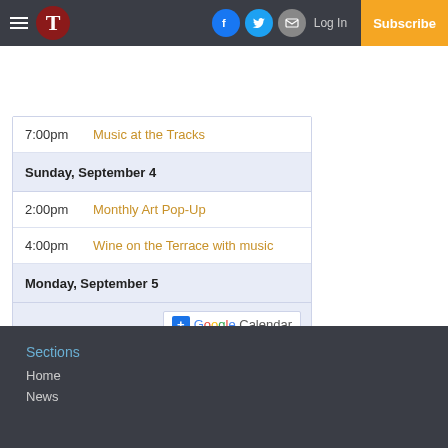Navigation bar with logo T, social icons (Facebook, Twitter, Email), Log In, Subscribe
| 7:00pm | Music at the Tracks |
| Sunday, September 4 |  |
| 2:00pm | Monthly Art Pop-Up |
| 4:00pm | Wine on the Terrace with music |
| Monday, September 5 |  |
|  | + Google Calendar |
Sections
Home
News